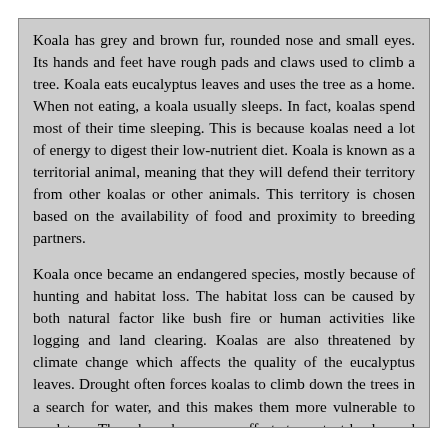Koala has grey and brown fur, rounded nose and small eyes. Its hands and feet have rough pads and claws used to climb a tree. Koala eats eucalyptus leaves and uses the tree as a home. When not eating, a koala usually sleeps. In fact, koalas spend most of their time sleeping. This is because koalas need a lot of energy to digest their low-nutrient diet. Koala is known as a territorial animal, meaning that they will defend their territory from other koalas or other animals. This territory is chosen based on the availability of food and proximity to breeding partners.
Koala once became an endangered species, mostly because of hunting and habitat loss. The habitat loss can be caused by both natural factor like bush fire or human activities like logging and land clearing. Koalas are also threatened by climate change which affects the quality of the eucalyptus leaves. Drought often forces koalas to climb down the trees in a search for water, and this makes them more vulnerable to predators. There have been some efforts to protect koalas and their habitat.